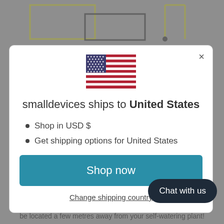[Figure (screenshot): Background webpage with a diagram partially visible behind a modal overlay]
[Figure (illustration): US flag emoji/icon centered in modal]
smalldevices ships to United States
Shop in USD $
Get shipping options for United States
Shop now
Change shipping country
Chat with us
be located a few metres away from your self-watering plant!